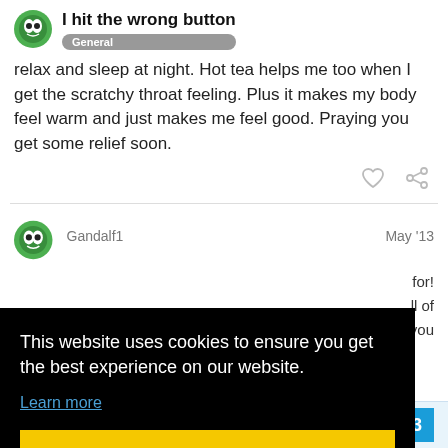I hit the wrong button — General
relax and sleep at night. Hot tea helps me too when I get the scratchy throat feeling. Plus it makes my body feel warm and just makes me feel good. Praying you get some relief soon.
Gandalf1  May '13
[Figure (screenshot): Cookie consent overlay with black background reading: 'This website uses cookies to ensure you get the best experience on our website. Learn more' and a yellow 'Got it!' button]
Your welcome and other members will